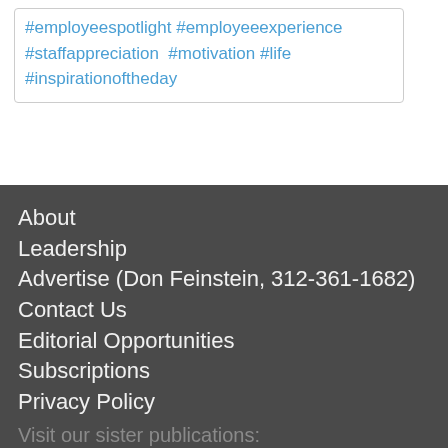#employeespotlight #employeeexperience #staffappreciation #motivation #life #inspirationoftheday
About
Leadership
Advertise (Don Feinstein, 312-361-1682)
Contact Us
Editorial Opportunities
Subscriptions
Privacy Policy
Visit our sister publications:
American Drycleaner
American Laundry News